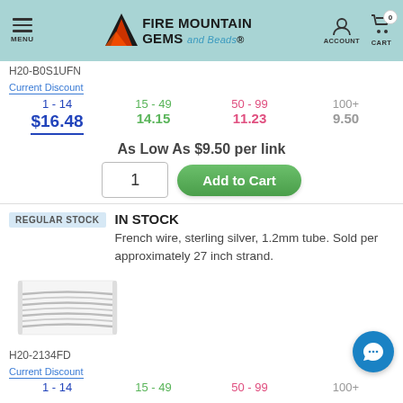Fire Mountain Gems and Beads - MENU | ACCOUNT | CART 0
H20-B0S1UFN
| 1 - 14 | 15 - 49 | 50 - 99 | 100+ |
| --- | --- | --- | --- |
| $16.48 | 14.15 | 11.23 | 9.50 |
As Low As $9.50 per link
REGULAR STOCK
IN STOCK
French wire, sterling silver, 1.2mm tube. Sold per approximately 27 inch strand.
[Figure (photo): French wire sterling silver coiled strand product image]
H20-2134FD
| 1 - 14 | 15 - 49 | 50 - 99 | 100+ |
| --- | --- | --- | --- |